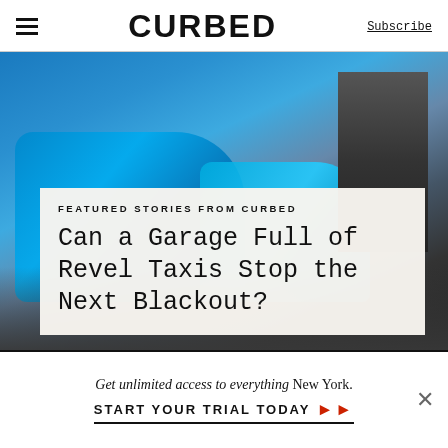CURBED | Subscribe
[Figure (photo): Overhead/side view of blue electric cars parked in a garage, shot from above showing rooftops and charging area with concrete walls in background]
FEATURED STORIES FROM CURBED
Can a Garage Full of Revel Taxis Stop the Next Blackout?
Get unlimited access to everything New York.
START YOUR TRIAL TODAY